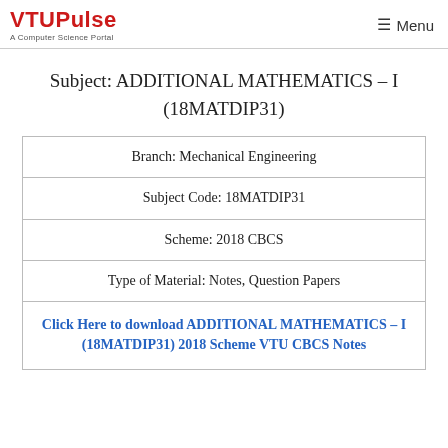VTUPulse A Computer Science Portal | Menu
Subject: ADDITIONAL MATHEMATICS – I (18MATDIP31)
| Branch: Mechanical Engineering |
| Subject Code: 18MATDIP31 |
| Scheme: 2018 CBCS |
| Type of Material: Notes, Question Papers |
| Click Here to download ADDITIONAL MATHEMATICS – I (18MATDIP31) 2018 Scheme VTU CBCS Notes |